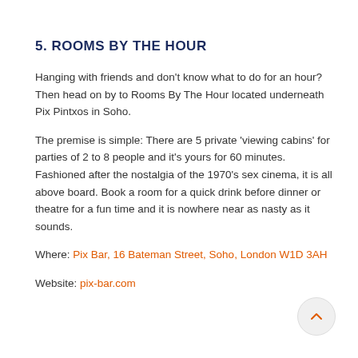5. ROOMS BY THE HOUR
Hanging with friends and don’t know what to do for an hour? Then head on by to Rooms By The Hour located underneath Pix Pintxos in Soho.
The premise is simple: There are 5 private ‘viewing cabins’ for parties of 2 to 8 people and it’s yours for 60 minutes. Fashioned after the nostalgia of the 1970’s sex cinema, it is all above board. Book a room for a quick drink before dinner or theatre for a fun time and it is nowhere near as nasty as it sounds.
Where: Pix Bar, 16 Bateman Street, Soho, London W1D 3AH
Website: pix-bar.com